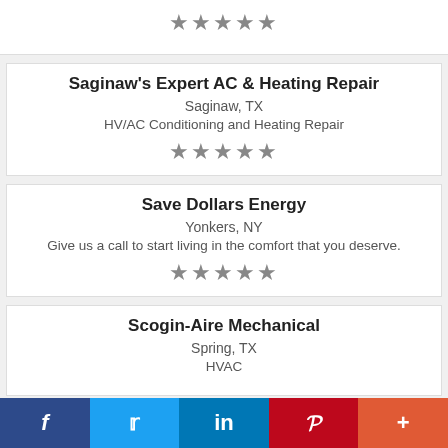★★★★★
Saginaw's Expert AC & Heating Repair
Saginaw, TX
HV/AC Conditioning and Heating Repair
★★★★★
Save Dollars Energy
Yonkers, NY
Give us a call to start living in the comfort that you deserve.
★★★★★
Scogin-Aire Mechanical
Spring, TX
HVAC
f  t  in  p  +